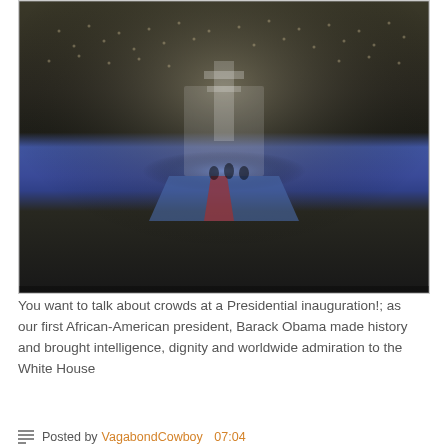[Figure (photo): Aerial/elevated view of an enormous crowd at a Presidential inauguration ceremony, with a stage/platform visible in the lower-center area where figures stand, blue carpet/stage visible, trees in background. Obama inauguration crowd photo.]
You want to talk about crowds at a Presidential inauguration!; as our first African-American president, Barack Obama made history and brought intelligence, dignity and worldwide admiration to the White House
Like 2
Posted by VagabondCowboy 07:04
Previous ← → Next  Table of contents